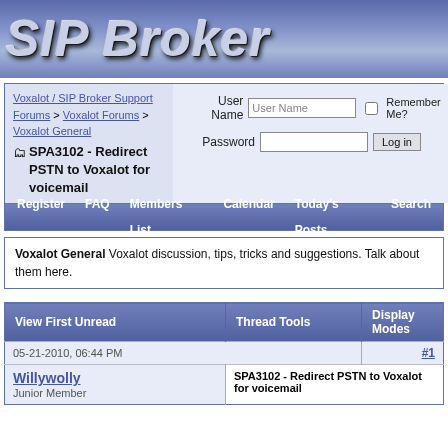[Figure (logo): SIP Broker logo banner with metallic italic text on blue gradient background]
Voxalot / SIP Broker Support Forums > Voxalot Forums > Voxalot General > SPA3102 - Redirect PSTN to Voxalot for voicemail
User Name [input] Remember Me? Password [input] Log in
Register  FAQ  Members List  Calendar  Today's Posts  Search
Voxalot General Voxalot discussion, tips, tricks and suggestions. Talk about them here.
| View First Unread | Thread Tools | Display Modes |
| --- | --- | --- |
| 05-21-2010, 06:44 PM |  | #1 |
| Willywolly
Junior Member | SPA3102 - Redirect PSTN to Voxalot for voicemail |  |